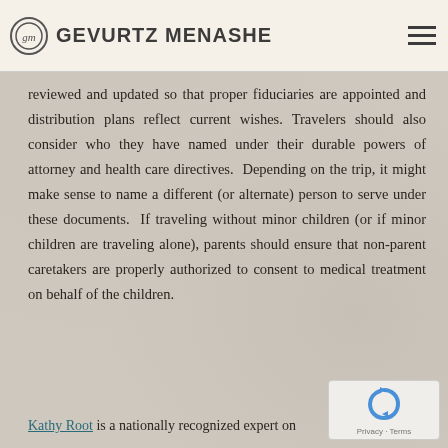GEVURTZ MENASHE
reviewed and updated so that proper fiduciaries are appointed and distribution plans reflect current wishes. Travelers should also consider who they have named under their durable powers of attorney and health care directives. Depending on the trip, it might make sense to name a different (or alternate) person to serve under these documents. If traveling without minor children (or if minor children are traveling alone), parents should ensure that non-parent caretakers are properly authorized to consent to medical treatment on behalf of the children.
Kathy Root is a nationally recognized expert on